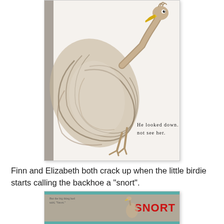[Figure (photo): Photo of an open children's book showing an illustration of a large bird (ostrich-like) with brown feathers bending its neck down, with text reading 'He looked down. He did not see her.']
Finn and Elizabeth both crack up when the little birdie starts calling the backhoe a "snort".
[Figure (photo): Photo of an open children's book showing the word 'SNORT' in large red letters on the right page, with small text on the left page.]